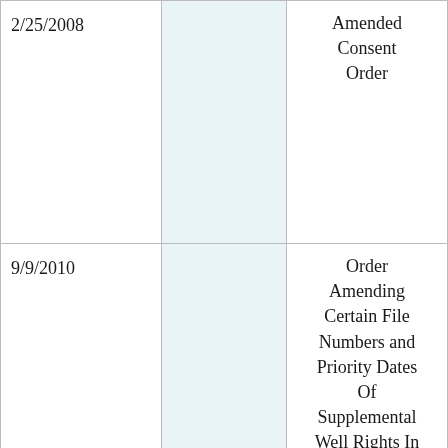| Date |  | Document |
| --- | --- | --- |
| 2/25/2008 |  | Amended Consent Order |
| 9/9/2010 |  | Order Amending Certain File Numbers and Priority Dates Of Supplemental Well Rights In CID Consent Order |
|  |  |  |